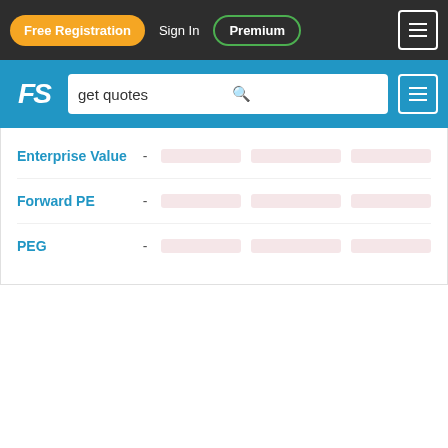Free Registration | Sign In | Premium | [menu]
[Figure (screenshot): Financial website header with search bar containing 'get quotes' and FS logo]
| Metric |  |  |  |  |
| --- | --- | --- | --- | --- |
| Enterprise Value | - |  |  |  |
| Forward PE | - |  |  |  |
| PEG | - |  |  |  |